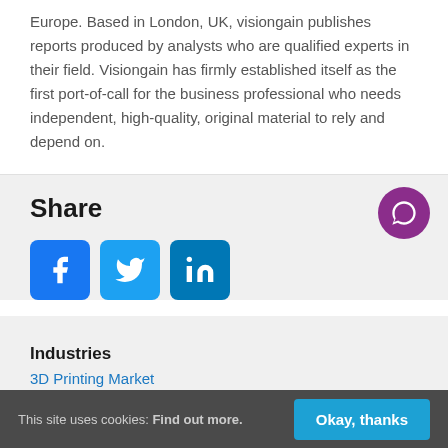Europe. Based in London, UK, visiongain publishes reports produced by analysts who are qualified experts in their field. Visiongain has firmly established itself as the first port-of-call for the business professional who needs independent, high-quality, original material to rely and depend on.
Share
[Figure (other): Social share buttons: Facebook (blue f), Twitter (blue bird), LinkedIn (blue in)]
Industries
3D Printing Market
This site uses cookies: Find out more. Okay, thanks